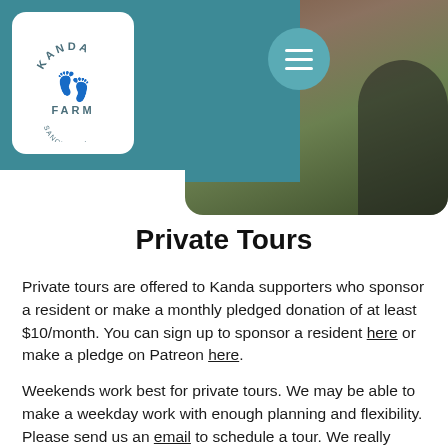Kanda Farm
[Figure (photo): Kanda Farm logo and hero image with teal navigation header bar and hamburger menu button]
Private Tours
Private tours are offered to Kanda supporters who sponsor a resident or make a monthly pledged donation of at least $10/month. You can sign up to sponsor a resident here or make a pledge on Patreon here.
Weekends work best for private tours. We may be able to make a weekday work with enough planning and flexibility. Please send us an email to schedule a tour. We really appreciate at least 2 weeks prior to plan a visit.
We understand this may be inconvenient for some. Since we are only 2 people